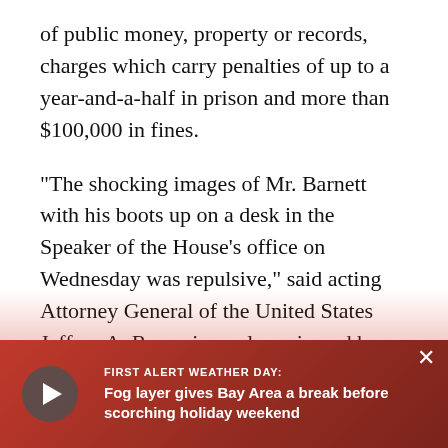of public money, property or records, charges which carry penalties of up to a year-and-a-half in prison and more than $100,000 in fines.
"The shocking images of Mr. Barnett with his boots up on a desk in the Speaker of the House's office on Wednesday was repulsive," said acting Attorney General of the United States Jeffrey A. Rosen in a release issued by the Justice Department. "Those who are proven to have committed criminal acts during the storming of the Capitol will face justice."
Pelosi has called the rioters' actions "acts of sedition and acts of cowardice" and pledged that those who stormed the Capitol...
Barnett's next cour...
[Figure (other): Red overlay notification banner at the bottom of the page showing a video player with play button and text: FIRST ALERT WEATHER DAY: Fog layer gives Bay Area a break before scorching holiday weekend, with a close (X) button.]